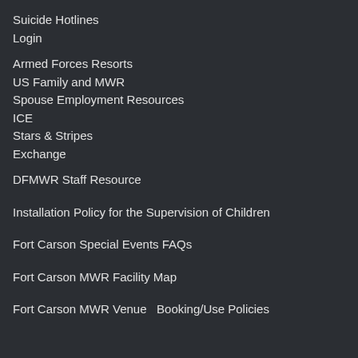Suicide Hotlines
Login
Armed Forces Resorts
US Family and MWR
Spouse Employment Resources
ICE
Stars & Stripes
Exchange
DFMWR Staff Resource
Installation Policy for the Supervision of Children
Fort Carson Special Events FAQs
Fort Carson MWR Facility Map
Fort Carson MWR Venue  Booking/Use Policies